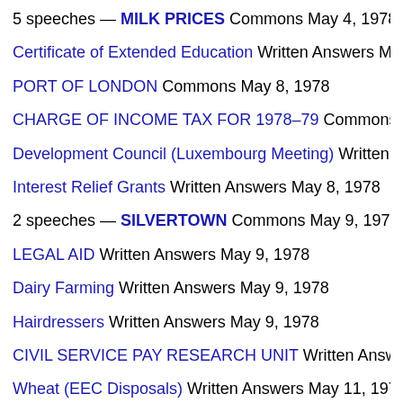5 speeches — MILK PRICES Commons May 4, 1978
Certificate of Extended Education Written Answers May 4, 197…
PORT OF LONDON Commons May 8, 1978
CHARGE OF INCOME TAX FOR 1978–79 Commons May 8, …
Development Council (Luxembourg Meeting) Written Answers …
Interest Relief Grants Written Answers May 8, 1978
2 speeches — SILVERTOWN Commons May 9, 1978
LEGAL AID Written Answers May 9, 1978
Dairy Farming Written Answers May 9, 1978
Hairdressers Written Answers May 9, 1978
CIVIL SERVICE PAY RESEARCH UNIT Written Answers May …
Wheat (EEC Disposals) Written Answers May 11, 1978